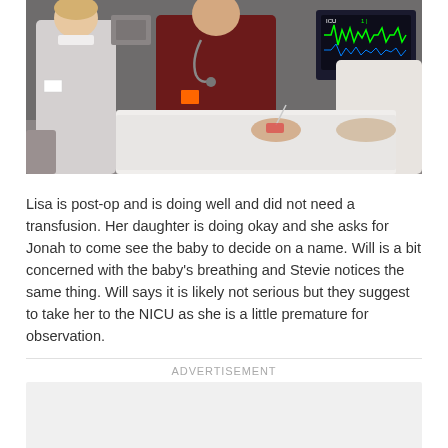[Figure (photo): Medical scene showing healthcare workers in a hospital room. A person in a white lab coat stands on the left, a person in dark maroon scrubs with a stethoscope stands in the center, and another person in white on the right. A patient lies on the bed. Medical monitoring equipment with green waveforms is visible in the background.]
Lisa is post-op and is doing well and did not need a transfusion. Her daughter is doing okay and she asks for Jonah to come see the baby to decide on a name. Will is a bit concerned with the baby's breathing and Stevie notices the same thing. Will says it is likely not serious but they suggest to take her to the NICU as she is a little premature for observation.
ADVERTISEMENT